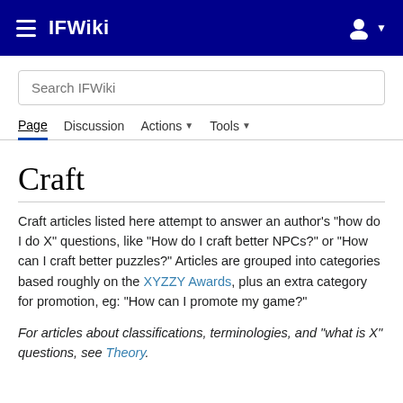IFWiki
Craft
Craft articles listed here attempt to answer an author's "how do I do X" questions, like "How do I craft better NPCs?" or "How can I craft better puzzles?" Articles are grouped into categories based roughly on the XYZZY Awards, plus an extra category for promotion, eg: "How can I promote my game?"
For articles about classifications, terminologies, and "what is X" questions, see Theory.